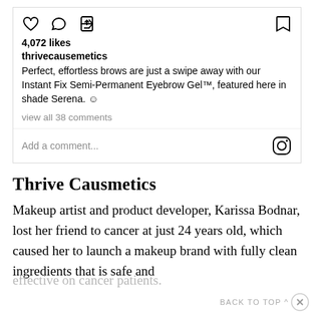[Figure (screenshot): Instagram post UI showing action icons (heart, comment, share, bookmark), like count, username, caption, and comment section]
4,072 likes
thrivecausemetics
Perfect, effortless brows are just a swipe away with our Instant Fix Semi-Permanent Eyebrow Gel™, featured here in shade Serena. 😊
view all 38 comments
Add a comment...
Thrive Causmetics
Makeup artist and product developer, Karissa Bodnar, lost her friend to cancer at just 24 years old, which caused her to launch a makeup brand with fully clean ingredients that is safe and effective on cancer patients.